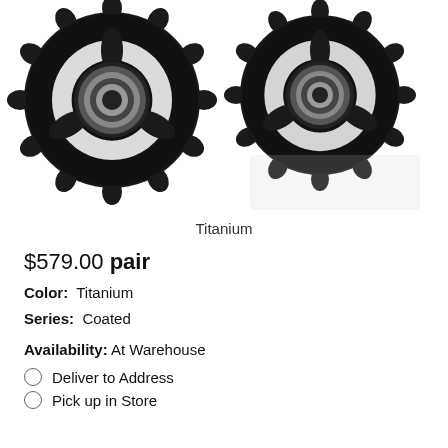[Figure (photo): Two black titanium bicycle derailleur pulley wheels with bearings, shown side by side on a white background.]
Titanium
$579.00 pair
Color:  Titanium
Series:  Coated
Availability: At Warehouse
Deliver to Address
Pick up in Store